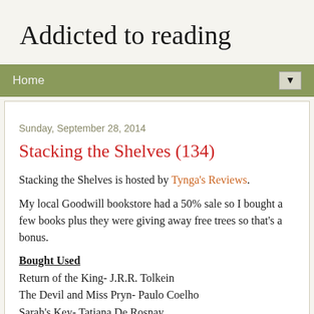Addicted to reading
Home
Sunday, September 28, 2014
Stacking the Shelves (134)
Stacking the Shelves is hosted by Tynga's Reviews.
My local Goodwill bookstore had a 50% sale so I bought a few books plus they were giving away free trees so that's a bonus.
Bought Used
Return of the King- J.R.R. Tolkein
The Devil and Miss Pryn- Paulo Coelho
Sarah's Key- Tatiana De Rosnay
Rescue- Anita Shreve
Bought New